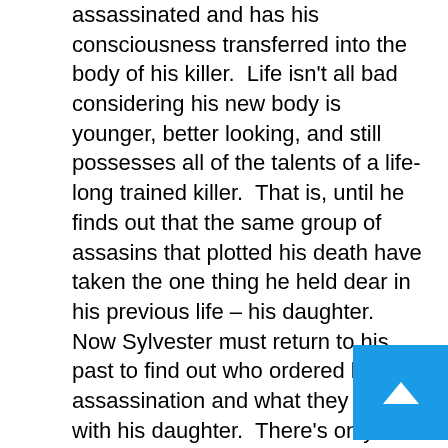assassinated and has his consciousness transferred into the body of his killer.  Life isn't all bad considering his new body is younger, better looking, and still possesses all of the talents of a life-long trained killer.  That is, until he finds out that the same group of assasins that plotted his death have taken the one thing he held dear in his previous life – his daughter.  Now Sylvester must return to his past to find out who ordered his assassination and what they want with his daughter.  There's only one problem – a lot of people wanted him dead!

EXISTENCE 2.0 #1 is online on Comic Book Resources today, July 8th, 2009. EXISTENCE 2.0 #2 (JUN090380), a 32-page full color comic book for $3.50, will be in stores August 5th